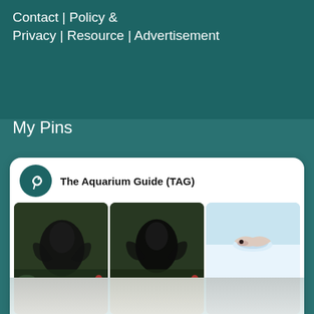Contact | Policy & Privacy | Resource | Advertisement
My Pins
[Figure (screenshot): A Pinterest-style card for 'The Aquarium Guide (TAG)' showing a 2-row, 3-column grid of aquarium fish photos. Top row: two dark/black betta fish on green background, one small pinkish shrimp/fish on white background. Bottom row: one small pinkish shrimp/fish on white background, two golden/yellow fish (mollies) on green/gravel background.]